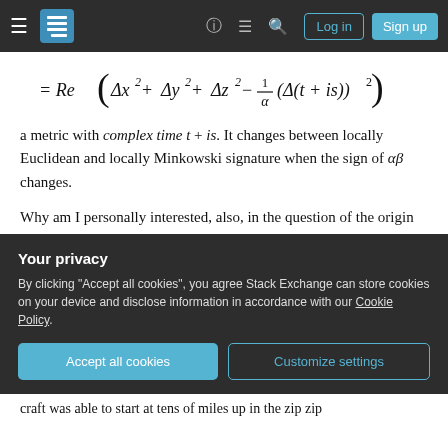Stack Exchange navigation bar with hamburger, logo, help, comments, search, Log in, Sign up buttons
a metric with complex time t + is. It changes between locally Euclidean and locally Minkowski signature when the sign of αβ changes.
Why am I personally interested, also, in the question of the origin of "inertia"? Well, you've seen the recent reports and videos released from the Pentagon about those strange vehicles that zip about with extremely fast and sharp stop and go actions, leaving behind no sound,
Your privacy
By clicking "Accept all cookies", you agree Stack Exchange can store cookies on your device and disclose information in accordance with our Cookie Policy.
Accept all cookies
Customize settings
craft was able to start at tens of miles up in the zip zip